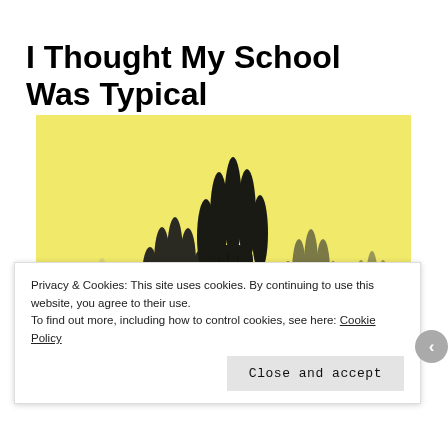I Thought My School Was Typical
[Figure (illustration): Drawing/illustration of multiple raised hands in various shades of dark and light against a yellow background, sketchy charcoal-style art.]
Privacy & Cookies: This site uses cookies. By continuing to use this website, you agree to their use.
To find out more, including how to control cookies, see here: Cookie Policy
Close and accept